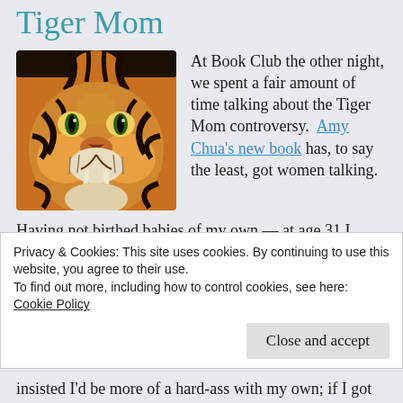Tiger Mom
[Figure (photo): Close-up photograph of a tiger's face, showing orange fur with black stripes, yellow-green eyes, and prominent fangs.]
At Book Club the other night, we spent a fair amount of time talking about the Tiger Mom controversy.  Amy Chua's new book has, to say the least, got women talking.
Having not birthed babies of my own — at age 31 I became stepmom to Chloe 15 and Austin 9 — I've often felt like I had to keep my mouth shut when it comes to motherhood.  Too many real
Privacy & Cookies: This site uses cookies. By continuing to use this website, you agree to their use.
To find out more, including how to control cookies, see here:
Cookie Policy
Close and accept
insisted I'd be more of a hard-ass with my own; if I got